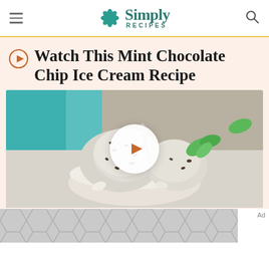Simply Recipes
Watch This Mint Chocolate Chip Ice Cream Recipe
[Figure (photo): Bowl of mint chocolate chip ice cream with a spoon and fresh mint garnish, with a play button overlay indicating a video]
[Figure (other): Ad banner with chevron/hexagon pattern in gray]